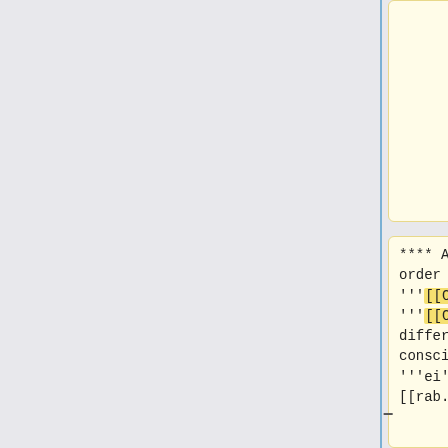hope of distinguishing it from '''re'''.
**** As an American, in order to make '''[[C|C]]e'' and '''[[C|C]]ei''' sound different enough I need to consciously pronounce '''ei''' like a redneck. -- [[rab.spir|r
**I use Lojban digits to think about the names of hexadecimal numbers, because otherwise I end up needing to remember one and thinking "Was that two-eight-zero or two-A-zero?", or